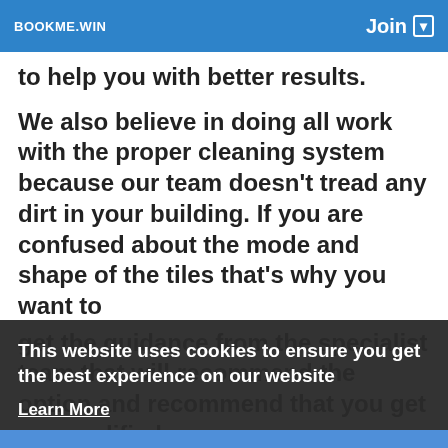BOOKME.WIN   Join
to help you with better results.
We also believe in doing all work with the proper cleaning system because our team doesn't tread any dirt in your building. If you are confused about the mode and shape of the tiles that's why you want to get the guidance from the specialist team that will recommend the option and recommend that you get our qualified crew.
TILER PERTH
This website uses cookies to ensure you get the best experience on our website
Learn More
Got It!